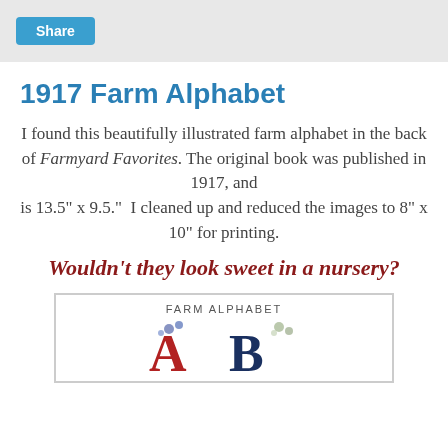Share
1917 Farm Alphabet
I found this beautifully illustrated farm alphabet in the back of Farmyard Favorites. The original book was published in 1917, and is 13.5" x 9.5."  I cleaned up and reduced the images to 8" x 10" for printing.
Wouldn't they look sweet in a nursery?
[Figure (photo): Cover image of Farm Alphabet book showing large decorative letters A and B with floral illustrations and the title 'FARM ALPHABET' at the top]